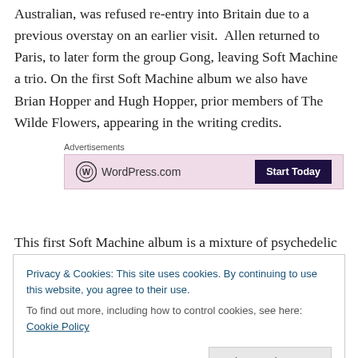Australian, was refused re-entry into Britain due to a previous overstay on an earlier visit.  Allen returned to Paris, to later form the group Gong, leaving Soft Machine a trio. On the first Soft Machine album we also have  Brian Hopper and Hugh Hopper, prior members of The Wilde Flowers, appearing in the writing credits.
[Figure (other): WordPress.com advertisement banner with pink background, WordPress logo and 'Start Today' dark button]
This first Soft Machine album is a mixture of psychedelic rock and jazz elements as in tracks like “Joy of a Toy”
Privacy & Cookies: This site uses cookies. By continuing to use this website, you agree to their use.
To find out more, including how to control cookies, see here: Cookie Policy